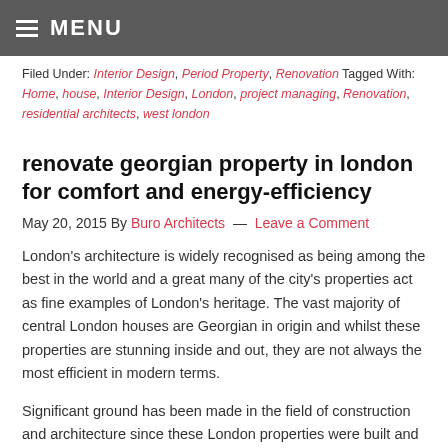MENU
Filed Under: Interior Design, Period Property, Renovation Tagged With: Home, house, Interior Design, London, project managing, Renovation, residential architects, west london
renovate georgian property in london for comfort and energy-efficiency
May 20, 2015 By Buro Architects — Leave a Comment
London's architecture is widely recognised as being among the best in the world and a great many of the city's properties act as fine examples of London's heritage. The vast majority of central London houses are Georgian in origin and whilst these properties are stunning inside and out, they are not always the most efficient in modern terms.
Significant ground has been made in the field of construction and architecture since these London properties were built and as such many are out of step with contemporary practices for…